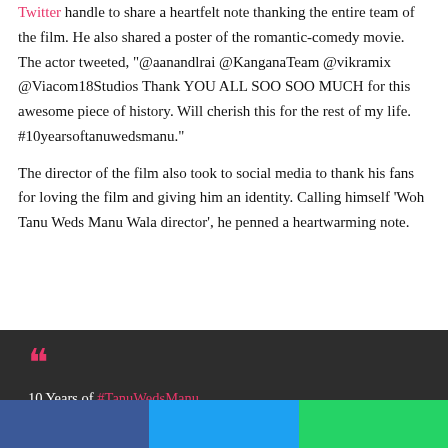Twitter handle to share a heartfelt note thanking the entire team of the film. He also shared a poster of the romantic-comedy movie. The actor tweeted, "@aanandlrai @KanganaTeam @vikramix @Viacom18Studios Thank YOU ALL SOO SOO MUCH for this awesome piece of history. Will cherish this for the rest of my life. #10yearsoftanuwedsmanu."
The director of the film also took to social media to thank his fans for loving the film and giving him an identity. Calling himself 'Woh Tanu Weds Manu Wala director', he penned a heartwarming note.
[Figure (other): Dark quote box with pink quotation marks and partial text '10 Years of #TanuWedsManu' in white with pink hashtag link]